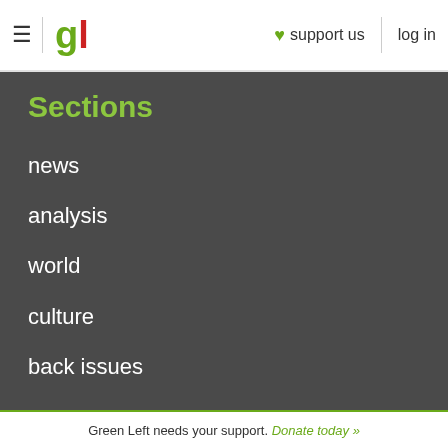gl | ♥ support us | log in
Sections
news
analysis
world
culture
back issues
Media
photos
podcasts
videos
Green Left needs your support. Donate today »